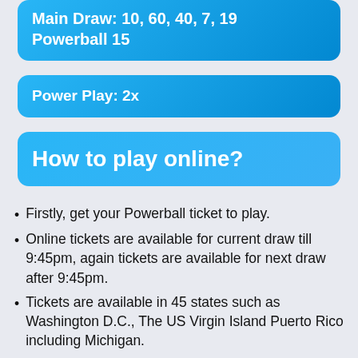Main Draw: 10, 60, 40, 7, 19 Powerball 15
Power Play: 2x
How to play online?
Firstly, get your Powerball ticket to play.
Online tickets are available for current draw till 9:45pm, again tickets are available for next draw after 9:45pm.
Tickets are available in 45 states such as Washington D.C., The US Virgin Island Puerto Rico including Michigan.
Select one of the following options for purchasing Powerball tickets online: